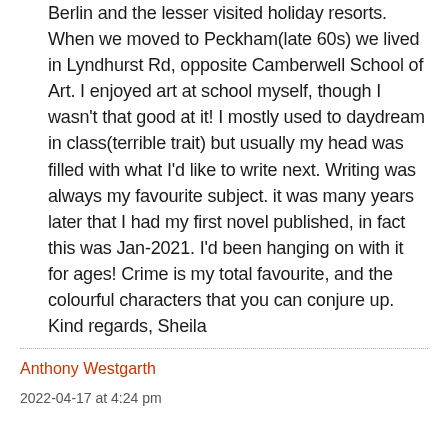Berlin and the lesser visited holiday resorts. When we moved to Peckham(late 60s) we lived in Lyndhurst Rd, opposite Camberwell School of Art. I enjoyed art at school myself, though I wasn't that good at it! I mostly used to daydream in class(terrible trait) but usually my head was filled with what I'd like to write next. Writing was always my favourite subject. it was many years later that I had my first novel published, in fact this was Jan-2021. I'd been hanging on with it for ages! Crime is my total favourite, and the colourful characters that you can conjure up. Kind regards, Sheila
Anthony Westgarth
2022-04-17 at 4:24 pm